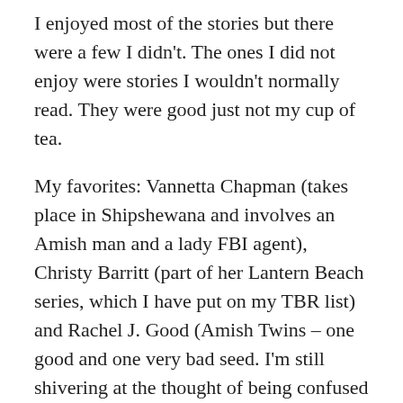I enjoyed most of the stories but there were a few I didn't. The ones I did not enjoy were stories I wouldn't normally read. They were good just not my cup of tea.
My favorites: Vannetta Chapman (takes place in Shipshewana and involves an Amish man and a lady FBI agent), Christy Barritt (part of her Lantern Beach series, which I have put on my TBR list) and Rachel J. Good (Amish Twins – one good and one very bad seed. I'm still shivering at the thought of being confused with an identical twin).
I have found several new to me authors that I will be looking to read in the future.
This is the perfect book for the person who likes to read but has a busy schedule. You can read a story in one